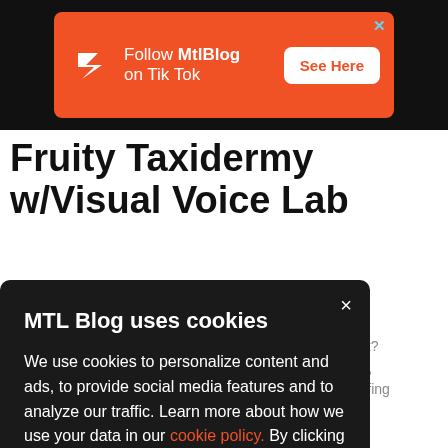[Figure (other): Orange ad banner on black background: Follow MtlBlog on Tik Tok with See Here button]
Fruity Taxidermy w/Visual Voice Lab
mist? that, stuffing you
MTL Blog uses cookies
We use cookies to personalize content and ads, to provide social media features and to analyze our traffic. Learn more about how we use your data in our cookie policy. By clicking Accept, you allow us to use cookies to give you the best experience on site.
Accept